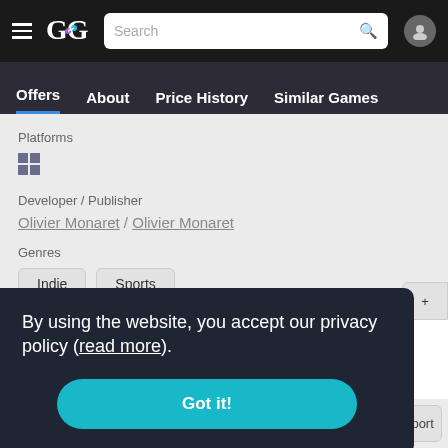GG logo, Search bar, User icon
Offers | About | Price History | Similar Games
Platforms
[Figure (logo): Windows logo icon]
Developer / Publisher
Olivier Monaret / Olivier Monaret
Genres
Indie
Sports
By using the website, you accept our privacy policy (read more).
Got it!
Single-player
Online PvP
Full controller support